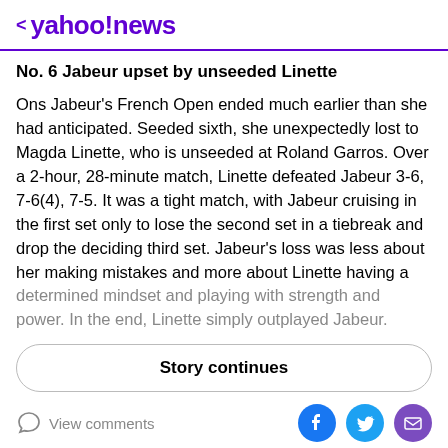< yahoo!news
No. 6 Jabeur upset by unseeded Linette
Ons Jabeur's French Open ended much earlier than she had anticipated. Seeded sixth, she unexpectedly lost to Magda Linette, who is unseeded at Roland Garros. Over a 2-hour, 28-minute match, Linette defeated Jabeur 3-6, 7-6(4), 7-5. It was a tight match, with Jabeur cruising in the first set only to lose the second set in a tiebreak and drop the deciding third set. Jabeur's loss was less about her making mistakes and more about Linette having a determined mindset and playing with strength and power. In the end, Linette simply outplayed Jabeur.
Story continues
View comments